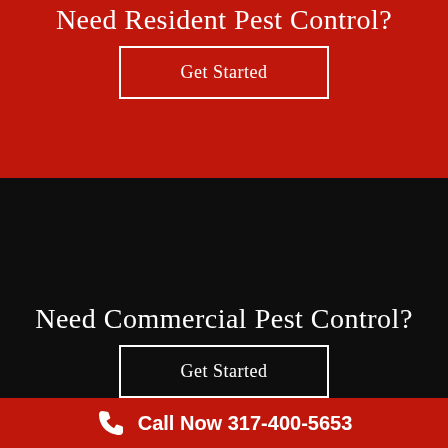Need Resident Pest Control?
Get Started
Need Commercial Pest Control?
Get Started
Call Now 317-400-5653